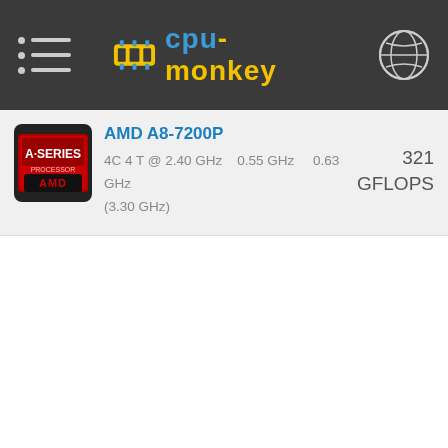cpu-monkey
AMD A8-7200P
4C 4 T @ 2.40 GHz   0.55 GHz   0.63 GHz (3.30 GHz)   321 GFLOPS